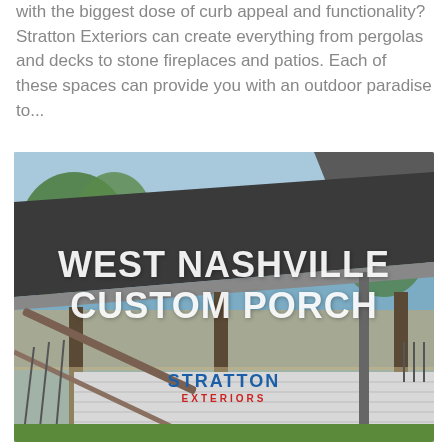with the biggest dose of curb appeal and functionality? Stratton Exteriors can create everything from pergolas and decks to stone fireplaces and patios. Each of these spaces can provide you with an outdoor paradise to...
[Figure (photo): Photo of a custom porch/deck build in West Nashville. Shows a covered porch with dark roof, white siding, wood railings and stairs, with trees and blue sky in the background. Overlaid white text reads 'WEST NASHVILLE CUSTOM PORCH' and the Stratton Exteriors logo appears at the bottom center.]